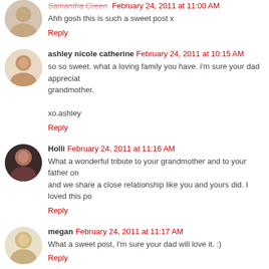Ahh gosh this is such a sweet post x
Reply
ashley nicole catherine February 24, 2011 at 10:15 AM
so so sweet. what a loving family you have. i'm sure your dad appreciat... grandmother.

xo.ashley
Reply
Holli February 24, 2011 at 11:16 AM
What a wonderful tribute to your grandmother and to your father on... and we share a close relationship like you and yours did. I loved this po...
Reply
megan February 24, 2011 at 11:17 AM
What a sweet post, I'm sure your dad will love it. :)
Reply